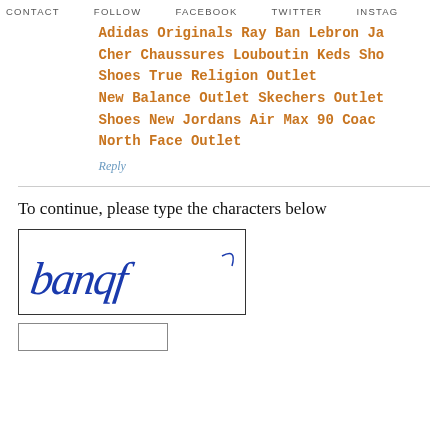CONTACT   FOLLOW   FACEBOOK   TWITTER   INSTAG
Adidas Originals Ray Ban Lebron Ja Cher Chaussures Louboutin Keds Sho Shoes True Religion Outlet New Balance Outlet Skechers Outlet Shoes New Jordans Air Max 90 Coac North Face Outlet
Reply
To continue, please type the characters below
[Figure (other): CAPTCHA image displaying handwritten blue cursive text 'banqf' or similar on white background inside a rectangular border]
[Figure (other): Empty text input box for CAPTCHA entry]